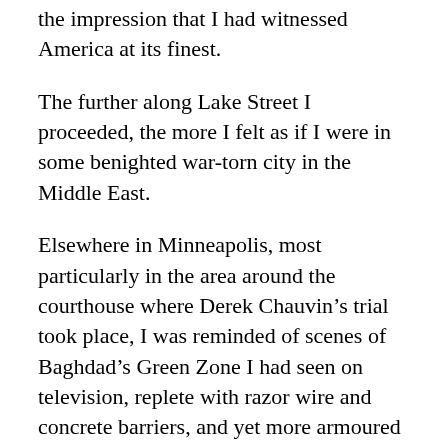the impression that I had witnessed America at its finest.
The further along Lake Street I proceeded, the more I felt as if I were in some benighted war-torn city in the Middle East.
Elsewhere in Minneapolis, most particularly in the area around the courthouse where Derek Chauvin’s trial took place, I was reminded of scenes of Baghdad’s Green Zone I had seen on television, replete with razor wire and concrete barriers, and yet more armoured vehicles and heavily-armed soldiers.
A city few people outside the United States had heard of before the death of George Floyd is drawing the attention of the world as it braces itself for the very real possibility of more